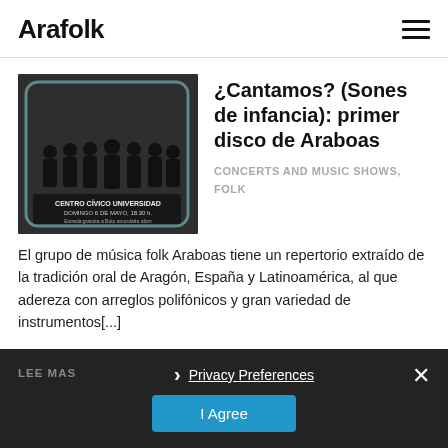Arafolk
[Figure (photo): Black and white photo of a group of musicians at Centro Cívico Universidad, Domingo 6 de Mayo, 18.30 h]
¿Cantamos? (Sones de infancia): primer disco de Araboas
CONCERTS AND MUSIC SHOWS, FOLK
El grupo de música folk Araboas tiene un repertorio extraído de la tradición oral de Aragón, España y Latinoamérica, al que adereza con arreglos polifónicos y gran variedad de instrumentos[...]
LEE MAS
Privacy Preferences
I Agree